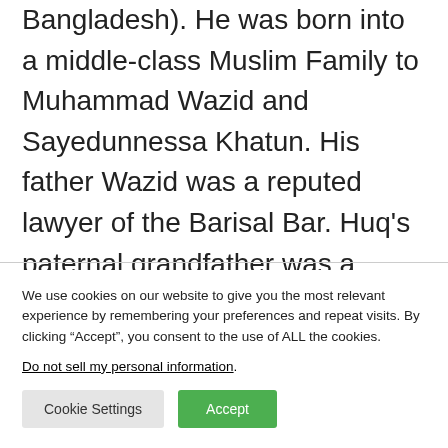Bangladesh). He was born into a middle-class Muslim Family to Muhammad Wazid and Sayedunnessa Khatun. His father Wazid was a reputed lawyer of the Barisal Bar. Huq's paternal grandfather was a scholar of Arabic and Persian. Following the initial homeschooling, he admitted into the Barisal District School and passed FA Examination in 1980.
We use cookies on our website to give you the most relevant experience by remembering your preferences and repeat visits. By clicking "Accept", you consent to the use of ALL the cookies.
Do not sell my personal information.
Cookie Settings
Accept